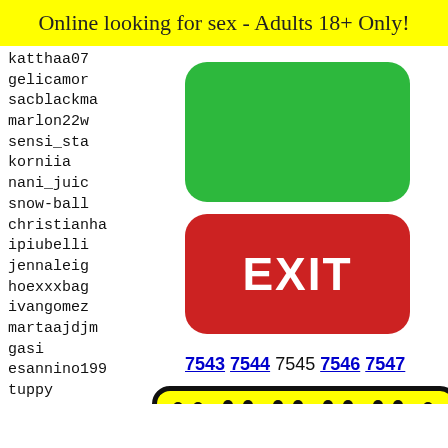Online looking for sex - Adults 18+ Only!
katthaa07
gelicamor
sacblackma...
marlon22w...
sensi_sta...
korniia
nani_juic...
snow-ball
christianha...
ipiubelli...
jennaleig...
hoexxxbag...
ivangomez...
martaajdjm
gasi
esannino199
tuppy
fabio031
geilerpasse
diamaa...
daniel...
Mz_swe...
chnd
samblu...
dodson...
[Figure (illustration): Green rounded rectangle button (no text)]
[Figure (illustration): Red rounded rectangle EXIT button with white bold EXIT text]
7543 7544 7545 7546 7547
[Figure (illustration): Yellow Snapchat-style ghost logo image with black dot pattern border]